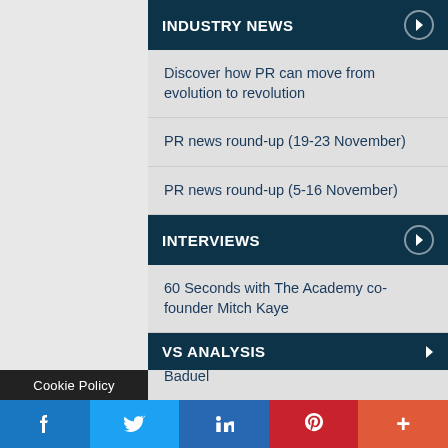INDUSTRY NEWS
Discover how PR can move from evolution to revolution
PR news round-up (19-23 November)
PR news round-up (5-16 November)
INTERVIEWS
60 Seconds with The Academy co-founder Mitch Kaye
60 Seconds with Curzon PR's Farzana Baduel
60 Seconds with Platform Communications' Gay Bell
VS ANALYSIS
Cookie Policy